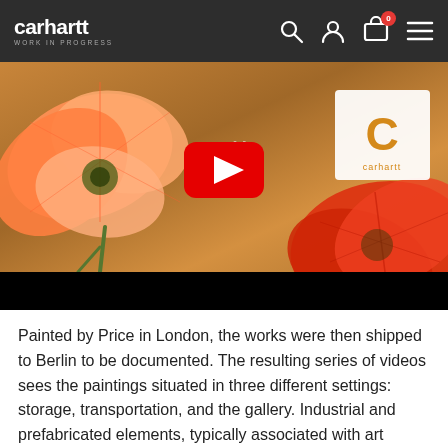carhartt WORK IN PROGRESS
[Figure (screenshot): Carhartt WIP video thumbnail showing painted poppy flowers (orange and red) against a tan/brown fabric background. A white Carhartt label is visible in the upper right. A YouTube-style red play button is centered on the image. Black bar below the image.]
Painted by Price in London, the works were then shipped to Berlin to be documented. The resulting series of videos sees the paintings situated in three different settings: storage, transportation, and the gallery. Industrial and prefabricated elements, typically associated with art handling, offer an additional sense of functionality, and serve as a visual